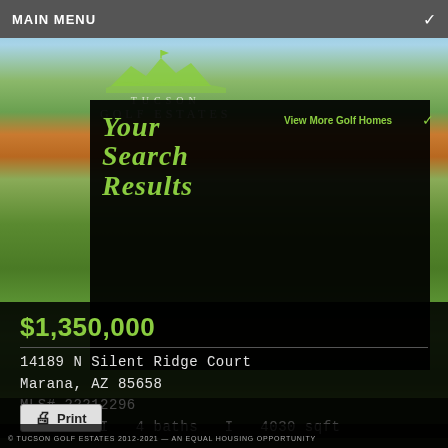MAIN MENU
[Figure (logo): Tucson Golf Estates logo with mountain skyline silhouette and green flag icon above the text TUCSON GOLF ESTATES]
Your Search Results
View More Golf Homes
$1,350,000
14189 N Silent Ridge Court
Marana, AZ 85658
MLS# 22212296
3 beds | 4 baths | 4030 sqft
Print
© TUCSON GOLF ESTATES 2012-2021 — AN EQUAL HOUSING OPPORTUNITY